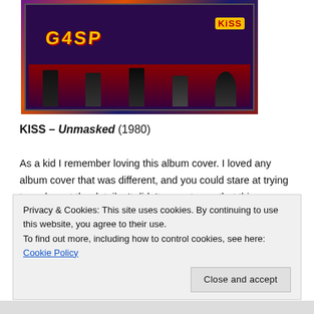[Figure (illustration): Comic-book style KISS album cover art for Unmasked (1980), showing colorful band members in cartoon style with 'GASP' text, KISS logo, speech bubble saying 'I STILL SAY THEY STINK!']
KISS – Unmasked (1980)
As a kid I remember loving this album cover. I loved any album cover that was different, and you could stare at trying to make out the details. It didn't occur to me that this cover represented a newer, cartoonish Kiss far removed from the one on the Destroyer cover.
Privacy & Cookies: This site uses cookies. By continuing to use this website, you agree to their use.
To find out more, including how to control cookies, see here: Cookie Policy
Close and accept